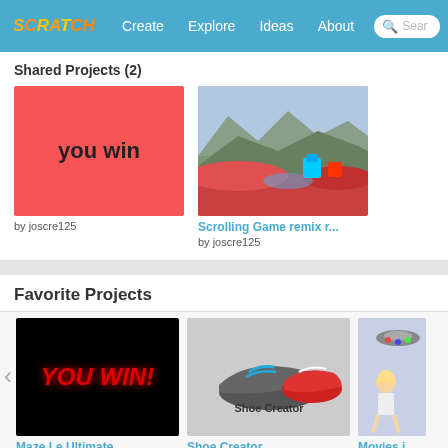[Figure (screenshot): Scratch website navigation bar with logo, Create, Explore, Ideas, About links and search box]
Shared Projects (2)
[Figure (illustration): Red background with 'you win' text in dark bold letters]
by joscre125
[Figure (photo): Scrolling game screenshot showing landscape with red terrain and cyan colored characters]
Scrolling Game remix r...
by joscre125
Favorite Projects
[Figure (screenshot): Black background with red italic YOU WIN! text - Maze Le Ultimate game]
Maze Le Ultimate
by brakeixxDEEDEEDAHxx
[Figure (illustration): Shoe Creator thumbnail showing sneakers with blue, gray, and red shoes on gray background]
Shoe Creator
by Brady612
[Figure (illustration): Partial thumbnail of Movies project with animated character]
Movies i...
by GoldAn...